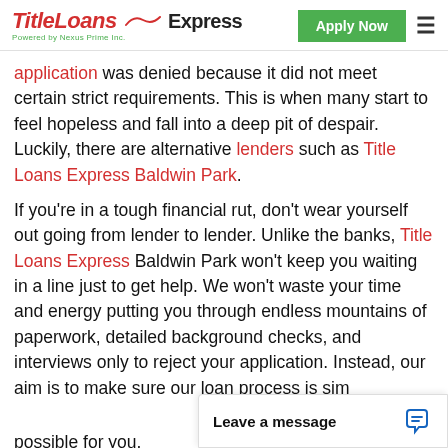TitleLoans Express — Powered by Nexus Prime Inc. | Apply Now
application was denied because it did not meet certain strict requirements. This is when many start to feel hopeless and fall into a deep pit of despair. Luckily, there are alternative lenders such as Title Loans Express Baldwin Park.
If you're in a tough financial rut, don't wear yourself out going from lender to lender. Unlike the banks, Title Loans Express Baldwin Park won't keep you waiting in a line just to get help. We won't waste your time and energy putting you through endless mountains of paperwork, detailed background checks, and interviews only to reject your application. Instead, our aim is to make sure our loan process is sim[ple and as convenient as] possible for you.